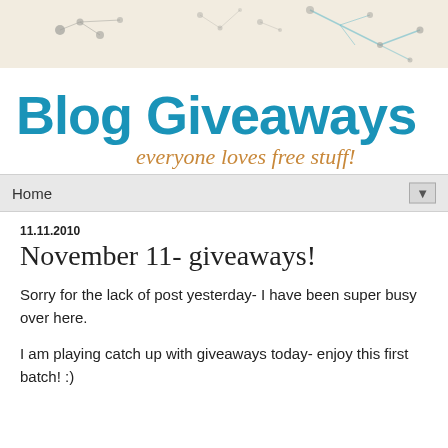[Figure (illustration): Decorative header banner with botanical/floral line art in gray and teal on a cream/beige background]
Blog Giveaways
everyone loves free stuff!
Home
11.11.2010
November 11- giveaways!
Sorry for the lack of post yesterday- I have been super busy over here.
I am playing catch up with giveaways today- enjoy this first batch! :)